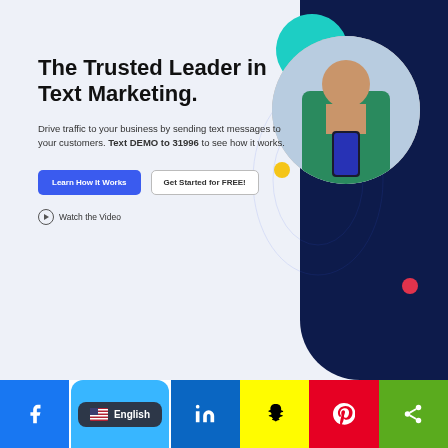[Figure (screenshot): Marketing website hero section with light blue background, dark navy right panel, teal blob shape, circular photo of woman looking at phone, yellow dot, red dot, decorative wave lines]
The Trusted Leader in Text Marketing.
Drive traffic to your business by sending text messages to your customers. Text DEMO to 31996 to see how it works.
Learn How It Works | Get Started for FREE!
Watch the Video
[Figure (screenshot): Social media share bar with Facebook, English language switcher (flag), LinkedIn, Snapchat, Pinterest, and share icons]